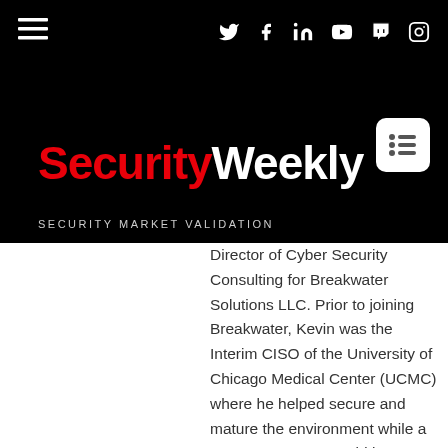Security Weekly — SECURITY MARKET VALIDATION
Director of Cyber Security Consulting for Breakwater Solutions LLC. Prior to joining Breakwater, Kevin was the Interim CISO of the University of Chicago Medical Center (UCMC) where he helped secure and mature the environment while a permanent CISO could be procured. Prior to his time at UCMC, Kevin was the Chief